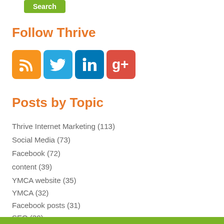[Figure (other): Green Search button (partial, cropped at top)]
Follow Thrive
[Figure (other): Four social media icons: RSS (orange), Twitter (blue), LinkedIn (blue), Google+ (red)]
Posts by Topic
Thrive Internet Marketing (113)
Social Media (73)
Facebook (72)
content (39)
YMCA website (35)
YMCA (32)
Facebook posts (31)
SEO (30)
See All